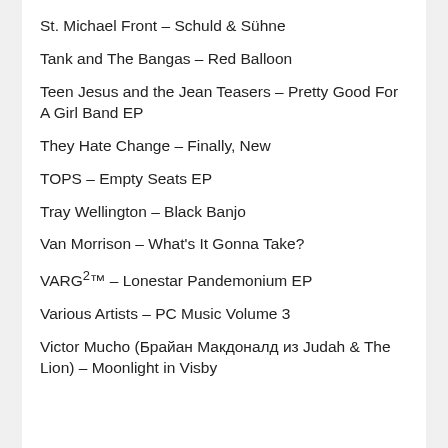St. Michael Front – Schuld & Sühne
Tank and The Bangas – Red Balloon
Teen Jesus and the Jean Teasers – Pretty Good For A Girl Band EP
They Hate Change – Finally, New
TOPS – Empty Seats EP
Tray Wellington – Black Banjo
Van Morrison – What's It Gonna Take?
VARG²™ – Lonestar Pandemonium EP
Various Artists – PC Music Volume 3
Victor Mucho (Брайан Макдоналд из Judah & The Lion) – Moonlight in Visby